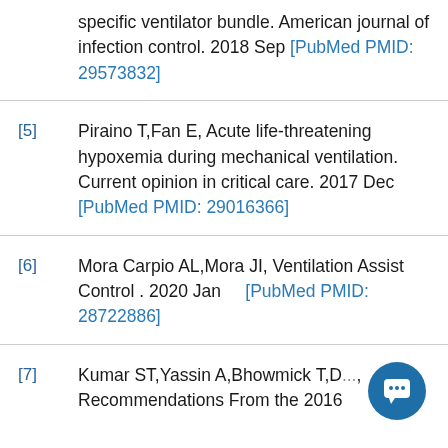specific ventilator bundle. American journal of infection control. 2018 Sep [PubMed PMID: 29573832]
[5] Piraino T,Fan E, Acute life-threatening hypoxemia during mechanical ventilation. Current opinion in critical care. 2017 Dec [PubMed PMID: 29016366]
[6] Mora Carpio AL,Mora JI, Ventilation Assist Control . 2020 Jan [PubMed PMID: 28722886]
[7] Kumar ST,Yassin A,Bhowmick T,D..., Recommendations From the 2016